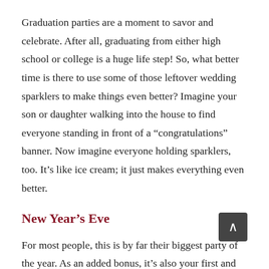Graduation parties are a moment to savor and celebrate. After all, graduating from either high school or college is a huge life step! So, what better time is there to use some of those leftover wedding sparklers to make things even better? Imagine your son or daughter walking into the house to find everyone standing in front of a “congratulations” banner. Now imagine everyone holding sparklers, too. It’s like ice cream; it just makes everything even better.
New Year’s Eve
For most people, this is by far their biggest party of the year. As an added bonus, it’s also your first and last party of each year. For many years, using sparklers on New Year’s Eve has been a popular choice. Since you probably already use them, it’s a great way to use up